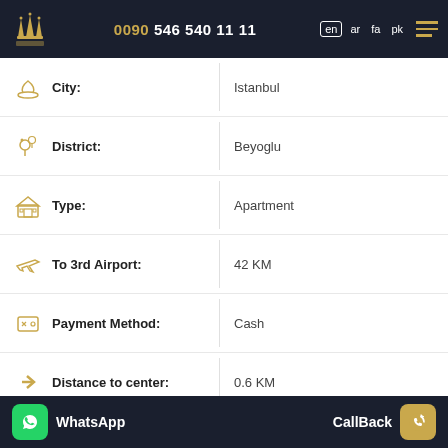0090 546 540 11 11 | en ar fa pk
| Field | Value |
| --- | --- |
| City: | Istanbul |
| District: | Beyoglu |
| Type: | Apartment |
| To 3rd Airport: | 42 KM |
| Payment Method: | Cash |
| Distance to center: | 0.6 KM |
WhatsApp | CallBack